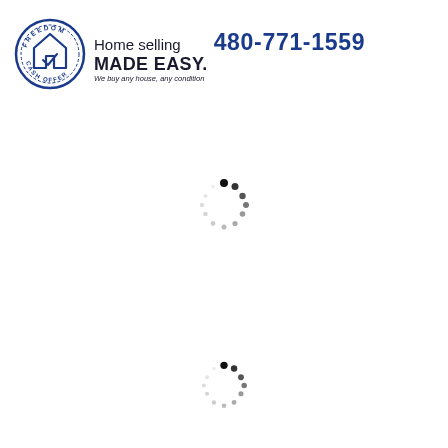[Figure (logo): Freedom Cash Offer circular logo with house and checkmark, dark blue border with text FREEDOM CASH OFFER]
Home selling MADE EASY. 480-771-1559 We buy any house, any condition
[Figure (other): Loading spinner animation dots arranged in a circle, dots fading from black to light gray]
[Figure (other): Loading spinner animation dots arranged in a circle, dots fading from black to light gray]